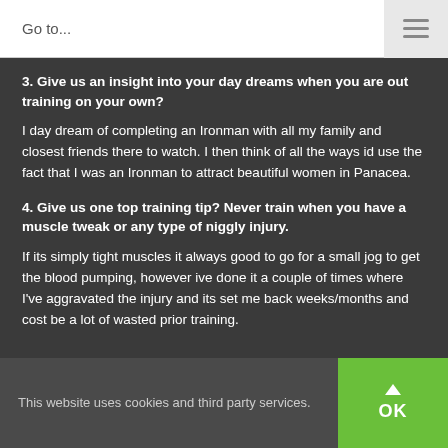Go to...
3. Give us an insight into your day dreams when you are out training on your own?
I day dream of completing an Ironman with all my family and closest friends there to watch. I then think of all the ways id use the fact that I was an Ironman to attract beautiful women in Panacea.
4. Give us one top training tip? Never train when you have a muscle tweak or any type of niggly injury.
If its simply tight muscles it always good to go for a small jog to get the blood pumping, however ive done it a couple of times where I've aggravated the injury and its set me back weeks/months and cost be a lot of wasted prior training.
This website uses cookies and third party services.